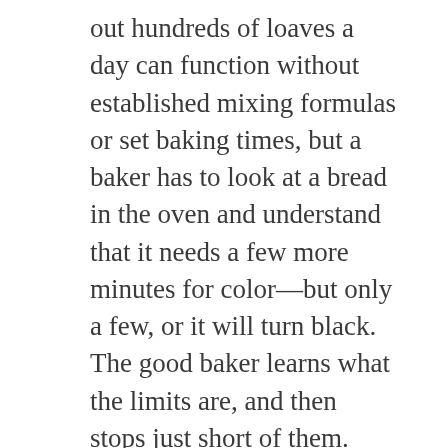out hundreds of loaves a day can function without established mixing formulas or set baking times, but a baker has to look at a bread in the oven and understand that it needs a few more minutes for color—but only a few, or it will turn black. The good baker learns what the limits are, and then stops just short of them. And the good manager empowers his staff to make good decisions. Otherwise, the production becomes totally formulaic, the bread itself bland and characterless.
We make the same kinds of demands on our staff at Ken's Artisan Pizza, which I opened in July 2006 with Alan Maniscalco, head baker at Ken's Artisan Bakery and now chef and partner at the pizzeria. With a wood-fired oven in a very busy establishment, baking to get the perfect pizza crust takes endurance and